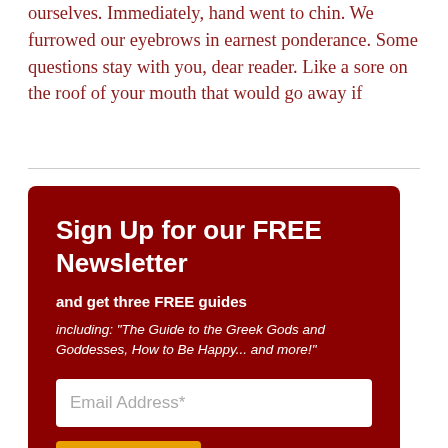ourselves. Immediately, hand went to chin. We furrowed our eyebrows in earnest ponderance. Some questions stay with you, dear reader. Like a sore on the roof of your mouth that would go away if
[Figure (infographic): Newsletter sign-up box with dark red background. Contains bold white heading 'Sign Up for our FREE Newsletter', subheading 'and get three FREE guides', italic description 'including: "The Guide to the Greek Gods and Goddesses, How to Be Happy... and more!"', an email address input field, and a gold 'SIGN UP' button.]